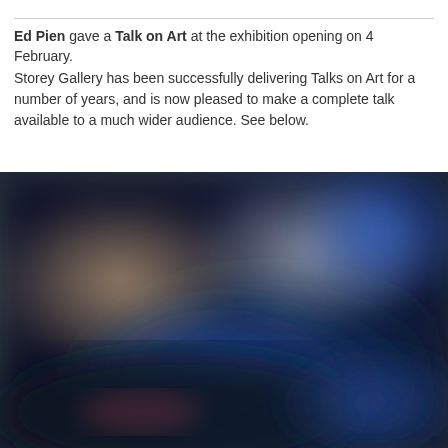Ed Pien gave a Talk on Art at the exhibition opening on 4 February.
Storey Gallery has been successfully delivering Talks on Art for a number of years, and is now pleased to make a complete talk available to a much wider audience. See below.
[Figure (photo): Blurred photograph of an art gallery or exhibition space, showing dark blue tones with soft blurred shapes suggesting people and artwork in a dimly lit room.]